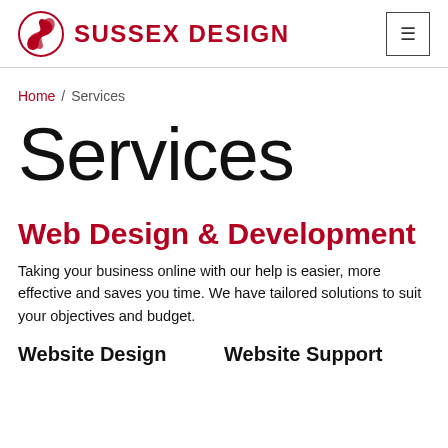SUSSEX DESIGN
Home / Services
Services
Web Design & Development
Taking your business online with our help is easier, more effective and saves you time. We have tailored solutions to suit your objectives and budget.
Website Design
Website Support